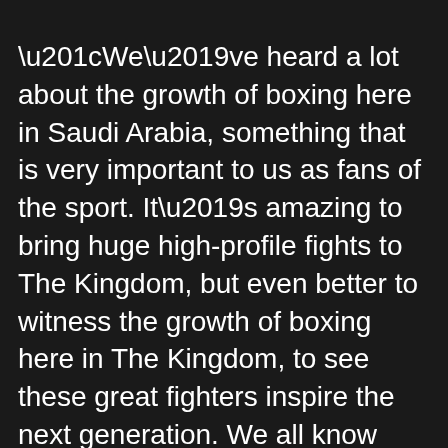“We’ve heard a lot about the growth of boxing here in Saudi Arabia, something that is very important to us as fans of the sport. It’s amazing to bring huge high-profile fights to The Kingdom, but even better to witness the growth of boxing here in The Kingdom, to see these great fighters inspire the next generation. We all know Oleksandr and Anthony are two great examples of what boxing can do for a young person, how it can change and how it can shape their lives. We really believe that boxing is a tremendous way to shape and mould the lives of individuals and to teach them all the